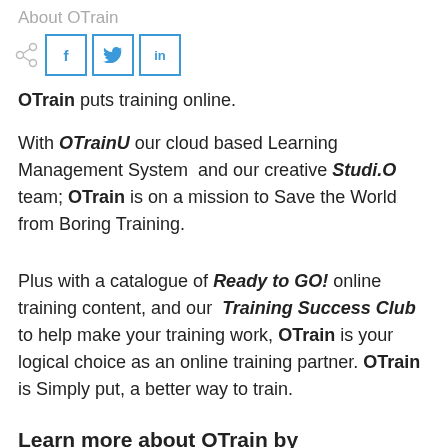About OTrain
[Figure (other): Share icon and three social media buttons: Facebook (f), Twitter (bird), LinkedIn (in) with blue borders]
OTrain puts training online.
With OTrainU our cloud based Learning Management System  and our creative Studi.O team; OTrain is on a mission to Save the World from Boring Training.
Plus with a catalogue of Ready to GO! online training content, and our Training Success Club to help make your training work, OTrain is your logical choice as an online training partner. OTrain is Simply put, a better way to train.
Learn more about OTrain by